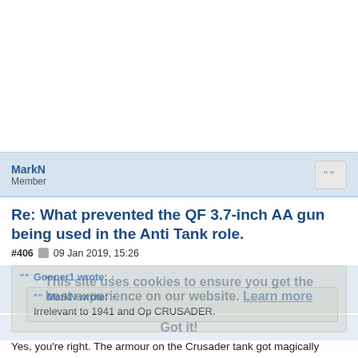MarkN
Member
Re: What prevented the QF 3.7-inch AA gun being used in the Anti Tank role.
#406  09 Jan 2019, 15:26
Gooner1 wrote: ↑
MarkN wrote: ↑
Irrelevant to 1941 and Op CRUSADER.
Yes, you're right. The armour on the Crusader tank got magically weaker between November 1941 and May 1942